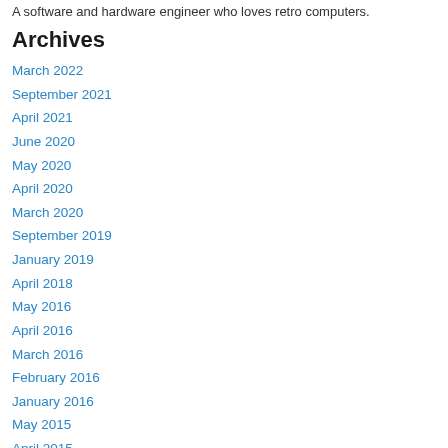A software and hardware engineer who loves retro computers.
Archives
March 2022
September 2021
April 2021
June 2020
May 2020
April 2020
March 2020
September 2019
January 2019
April 2018
May 2016
April 2016
March 2016
February 2016
January 2016
May 2015
April 2015
March 2015
January 2015